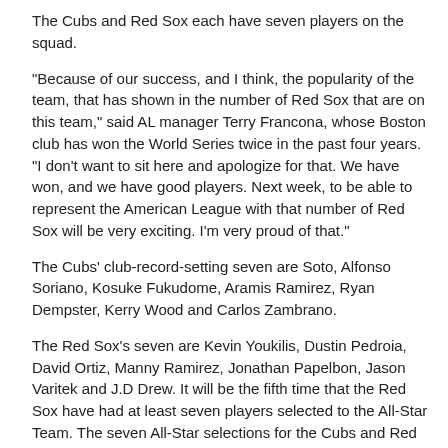The Cubs and Red Sox each have seven players on the squad.
"Because of our success, and I think, the popularity of the team, that has shown in the number of Red Sox that are on this team," said AL manager Terry Francona, whose Boston club has won the World Series twice in the past four years. "I don't want to sit here and apologize for that. We have won, and we have good players. Next week, to be able to represent the American League with that number of Red Sox will be very exciting. I'm very proud of that."
The Cubs' club-record-setting seven are Soto, Alfonso Soriano, Kosuke Fukudome, Aramis Ramirez, Ryan Dempster, Kerry Wood and Carlos Zambrano.
The Red Sox's seven are Kevin Youkilis, Dustin Pedroia, David Ortiz, Manny Ramirez, Jonathan Papelbon, Jason Varitek and J.D Drew. It will be the fifth time that the Red Sox have had at least seven players selected to the All-Star Team. The seven All-Star selections for the Cubs and Red Sox are the most for a team since seven White Sox were chosen for the 2006 game at Pittsburgh's PNC Park.